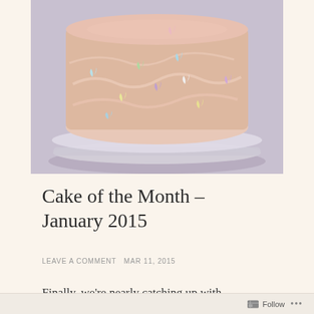[Figure (photo): A round layer cake with pink frosting decorated with small pastel butterfly-shaped sugar decorations in blue, purple, yellow, and green. The cake sits on a glass cake stand with a scalloped edge, on a light purple/lavender surface.]
Cake of the Month – January 2015
LEAVE A COMMENT MAR 11, 2015
Finally, we're nearly catching up with
Follow